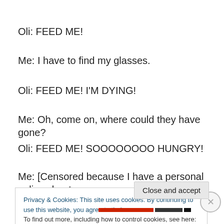Oli: FEED ME!
Me: I have to find my glasses.
Oli: FEED ME! I'M DYING!
Me: Oh, come on, where could they have gone?
Oli: FEED ME! SOOOOOOOO HUNGRY!
Me: [Censored because I have a personal policy about
Privacy & Cookies: This site uses cookies. By continuing to use this website, you agree to their use.
To find out more, including how to control cookies, see here: Cookie Policy
Close and accept